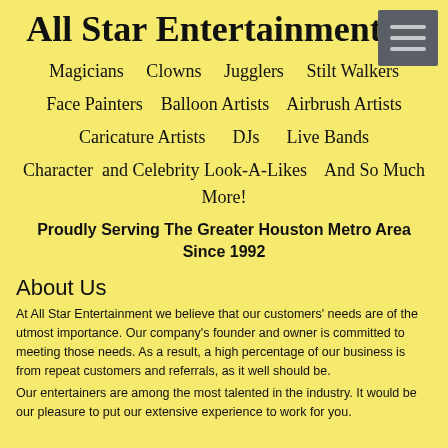All Star Entertainment
Magicians   Clowns   Jugglers   Stilt Walkers
Face Painters   Balloon Artists   Airbrush Artists
Caricature Artists   DJs   Live Bands
Character and Celebrity Look-A-Likes   And So Much More!
Proudly Serving The Greater Houston Metro Area Since 1992
About Us
At All Star Entertainment we believe that our customers' needs are of the utmost importance. Our company's founder and owner is committed to meeting those needs. As a result, a high percentage of our business is from repeat customers and referrals, as it well should be.
Our entertainers are among the most talented in the industry. It would be our pleasure to put our extensive experience to work for you.